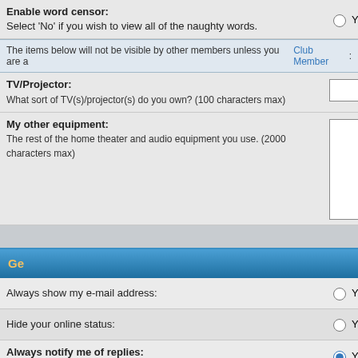| Setting | Control |
| --- | --- |
| Enable word censor:
Select 'No' if you wish to view all of the naughty words. | Yes |
| The items below will not be visible by other members unless you are a Club Member: |  |
| TV/Projector:
What sort of TV(s)/projector(s) do you own? (100 characters max) | [text input] |
| My other equipment:
The rest of the home theater and audio equipment you use. (2000 characters max) | [textarea] |
| Always show my e-mail address: | Yes |
| Hide your online status: | Yes |
| Always notify me of replies:
Sends an e-mail when someone replies to a topic you have posted in. This can be changed whenever you post. | Yes |
| Notify on new Private Message: | Yes |
| Pop up window on new Private Message:
Some templates may open a new window to inform you when new private messages arrive. | Yes |
| Always attach my signature: | Yes |
| Always allow BBCode: | Yes |
| Always allow HTML: | Yes |
Ge...